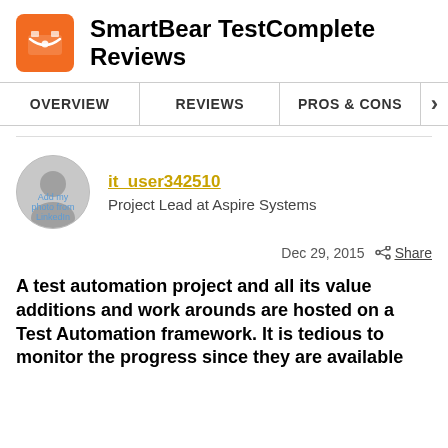SmartBear TestComplete Reviews
OVERVIEW | REVIEWS | PROS & CONS
it_user342510
Project Lead at Aspire Systems
Dec 29, 2015  Share
A test automation project and all its value additions and work arounds are hosted on a Test Automation framework. It is tedious to monitor the progress since they are available